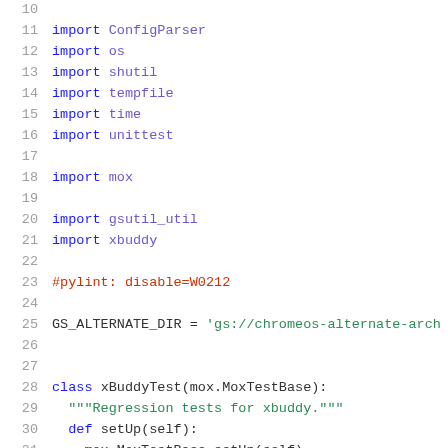10  (partial line)
11  import ConfigParser
12  import os
13  import shutil
14  import tempfile
15  import time
16  import unittest
17  (blank)
18  import mox
19  (blank)
20  import gsutil_util
21  import xbuddy
22  (blank)
23  #pylint: disable=W0212
24  (blank)
25  GS_ALTERNATE_DIR = 'gs://chromeos-alternate-arch
26  (blank)
27  (blank)
28  class xBuddyTest(mox.MoxTestBase):
29    """Regression tests for xbuddy."""
30    def setUp(self):
31      mox.MoxTestBase.setUp(self)